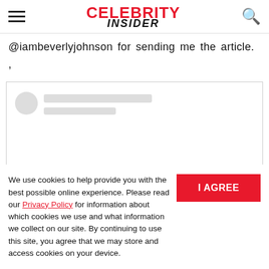CELEBRITY INSIDER
@iambeverlyjohnson for sending me the article.
,
[Figure (screenshot): Embedded social media post placeholder with circular avatar and two grey loading bars]
We use cookies to help provide you with the best possible online experience. Please read our Privacy Policy for information about which cookies we use and what information we collect on our site. By continuing to use this site, you agree that we may store and access cookies on your device.